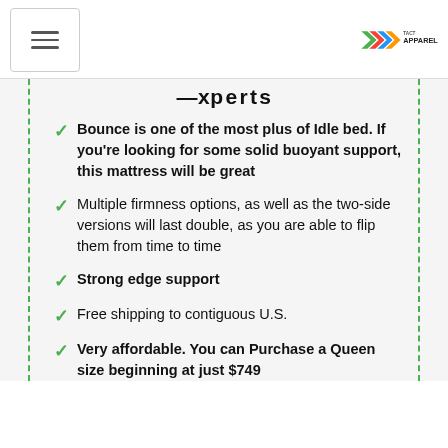hamburger menu | TACT APPAREL logo
Experts
Bounce is one of the most plus of Idle bed. If you're looking for some solid buoyant support, this mattress will be great
Multiple firmness options, as well as the two-side versions will last double, as you are able to flip them from time to time
Strong edge support
Free shipping to contiguous U.S.
Very affordable. You can Purchase a Queen size beginning at just $749